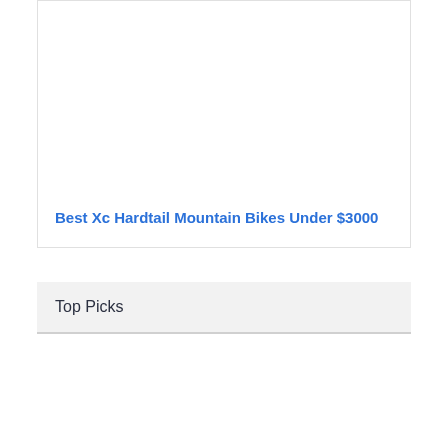Best Xc Hardtail Mountain Bikes Under $3000
Top Picks